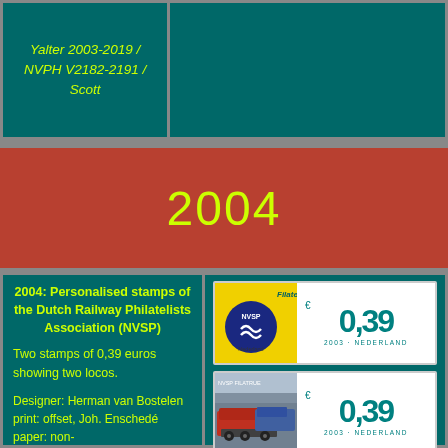Yalter 2003-2019 / NVPH V2182-2191 / Scott
2004
2004: Personalised stamps of the Dutch Railway Philatelists Association (NVSP)
Two stamps of 0,39 euros showing two locos.
[Figure (photo): Stamp with NVSP logo on yellow background and €0,39 Nederland 2003 denomination]
[Figure (photo): Stamp with locomotive photo and €0,39 Nederland 2003 denomination]
Designer: Herman van Bostelen
print: offset, Joh. Enschedé
paper: non-
[Figure (other): Blue upward arrow button labeled Top]